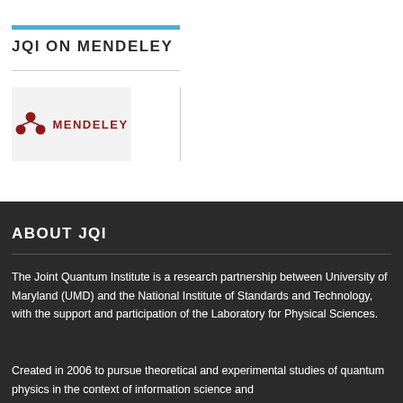JQI ON MENDELEY
[Figure (logo): Mendeley logo: red molecule icon with MENDELEY text in dark red on light gray background]
ABOUT JQI
The Joint Quantum Institute is a research partnership between University of Maryland (UMD) and the National Institute of Standards and Technology, with the support and participation of the Laboratory for Physical Sciences.
Created in 2006 to pursue theoretical and experimental studies of quantum physics in the context of information science and